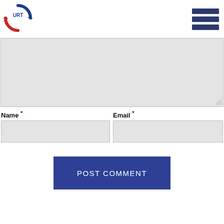[Figure (logo): URT logo — circular arrows in blue and red with 'URT' text in the center]
[Figure (other): Hamburger menu icon — three dark navy horizontal bars]
[Figure (other): Large comment textarea input box (greyed out, empty)]
Name *
[Figure (other): Name text input field (greyed out, empty)]
Email *
[Figure (other): Email text input field (greyed out, empty)]
POST COMMENT